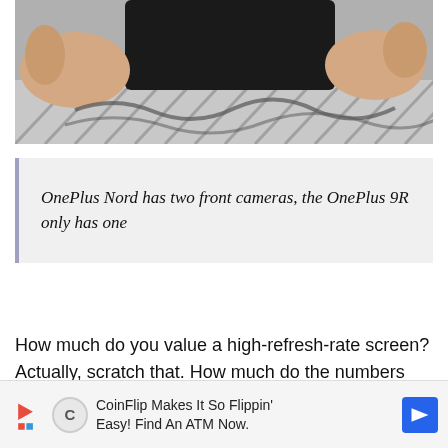[Figure (photo): Hands holding and bending a smartphone against a striped fabric background]
OnePlus Nord has two front cameras, the OnePlus 9R only has one
How much do you value a high-refresh-rate screen? Actually, scratch that. How much do the numbers 120Hz and 90Hz matter to you? I'm asking that questi...Hz
[Figure (other): CoinFlip advertisement banner: 'CoinFlip Makes It So Flippin' Easy! Find An ATM Now.']